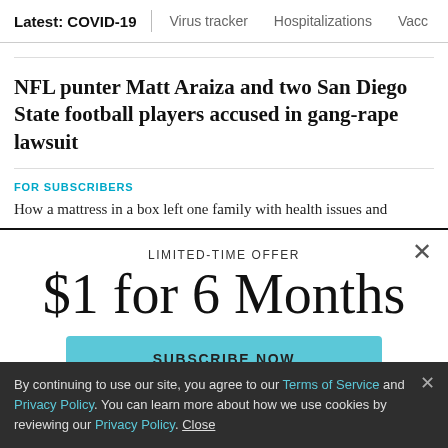Latest: COVID-19 | Virus tracker | Hospitalizations | Vacc
NFL punter Matt Araiza and two San Diego State football players accused in gang-rape lawsuit
FOR SUBSCRIBERS
How a mattress in a box left one family with health issues and
LIMITED-TIME OFFER
$1 for 6 Months
SUBSCRIBE NOW
By continuing to use our site, you agree to our Terms of Service and Privacy Policy. You can learn more about how we use cookies by reviewing our Privacy Policy. Close